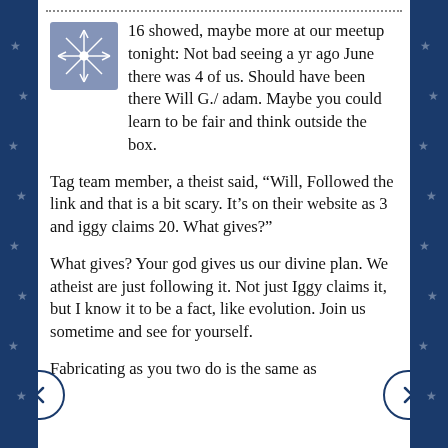16 showed, maybe more at our meetup tonight: Not bad seeing a yr ago June there was 4 of us. Should have been there Will G./ adam. Maybe you could learn to be fair and think outside the box.
Tag team member, a theist said, “Will, Followed the link and that is a bit scary. It’s on their website as 3 and iggy claims 20. What gives?”
What gives? Your god gives us our divine plan. We atheist are just following it. Not just Iggy claims it, but I know it to be a fact, like evolution. Join us sometime and see for yourself.
Fabricating as you two do is the same as